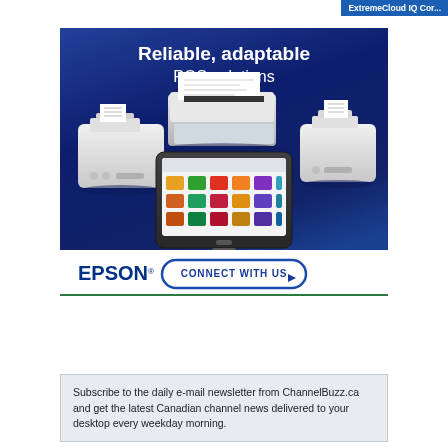ExtremeCloud IQ Cor...
[Figure (advertisement): Epson advertisement showing POS (point-of-sale) solutions with thermal receipt printers, a flatbed scanner, and a tablet displaying a POS interface. Text reads 'Reliable, adaptable POS solutions' with EPSON logo and 'CONNECT WITH US' button on a dark blue gradient background.]
Subscribe to the daily e-mail newsletter from ChannelBuzz.ca and get the latest Canadian channel news delivered to your desktop every weekday morning.